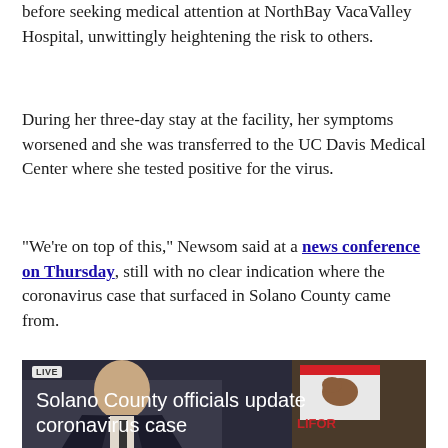before seeking medical attention at NorthBay VacaValley Hospital, unwittingly heightening the risk to others.
During her three-day stay at the facility, her symptoms worsened and she was transferred to the UC Davis Medical Center where she tested positive for the virus.
"We're on top of this," Newsom said at a news conference on Thursday, still with no clear indication where the coronavirus case that surfaced in Solano County came from.
[Figure (screenshot): Video thumbnail showing a news broadcast. A LIVE badge is visible in the top-left corner. A man in a suit appears in front of a California state flag. Text overlay reads: Solano County officials update coronavirus case.]